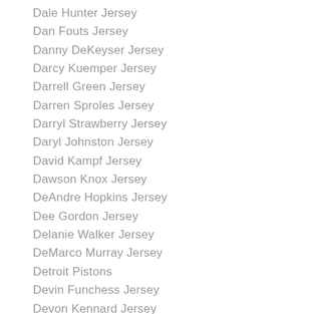Dale Hunter Jersey
Dan Fouts Jersey
Danny DeKeyser Jersey
Darcy Kuemper Jersey
Darrell Green Jersey
Darren Sproles Jersey
Darryl Strawberry Jersey
Daryl Johnston Jersey
David Kampf Jersey
Dawson Knox Jersey
DeAndre Hopkins Jersey
Dee Gordon Jersey
Delanie Walker Jersey
DeMarco Murray Jersey
Detroit Pistons
Devin Funchess Jersey
Devon Kennard Jersey
Dickie Moore Jersey